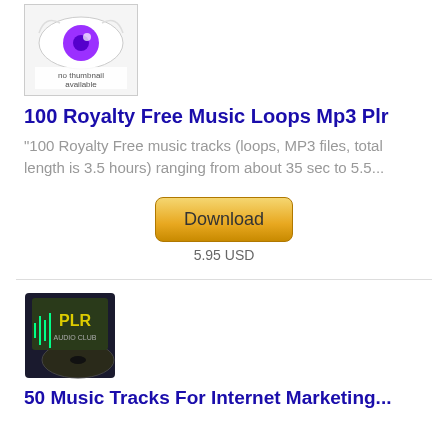[Figure (photo): Thumbnail image showing a purple eye on white background with 'no thumbnail available' text overlay]
100 Royalty Free Music Loops Mp3 Plr
"100 Royalty Free music tracks (loops, MP3 files, total length is 3.5 hours) ranging from about 35 sec to 5.5...
[Figure (other): Download button - golden/yellow gradient button with text 'Download']
5.95 USD
[Figure (photo): Product box image showing PLR Audio Club logo on dark background]
50 Music Tracks For Internet Marketing...